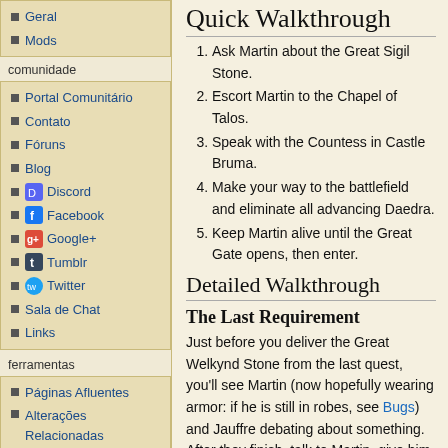Geral
Mods
comunidade
Portal Comunitário
Contato
Fóruns
Blog
Discord
Facebook
Google+
Tumblr
Twitter
Sala de Chat
Links
ferramentas
Páginas Afluentes
Alterações Relacionadas
Carregar Ficheiro
Páginas Especiais
Versão para Impressão
Ligação Permanente
Informações da Página
Citar esta página
Quick Walkthrough
Ask Martin about the Great Sigil Stone.
Escort Martin to the Chapel of Talos.
Speak with the Countess in Castle Bruma.
Make your way to the battlefield and eliminate all advancing Daedra.
Keep Martin alive until the Great Gate opens, then enter.
Detailed Walkthrough
The Last Requirement
Just before you deliver the Great Welkynd Stone from the last quest, you'll see Martin (now hopefully wearing armor: if he is still in robes, see Bugs) and Jauffre debating about something. After they finish, talk to Martin, give him the stone and he'll fill you in on the last requirement: a Great Sigil Stone. The only way to get one is to allow the Mythic Dawn to open a Great Gate near Bruma.